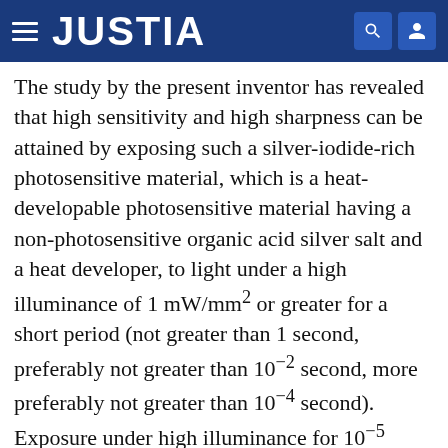JUSTIA
The study by the present inventor has revealed that high sensitivity and high sharpness can be attained by exposing such a silver-iodide-rich photosensitive material, which is a heat-developable photosensitive material having a non-photosensitive organic acid silver salt and a heat developer, to light under a high illuminance of 1 mW/mm² or greater for a short period (not greater than 1 second, preferably not greater than 10⁻² second, more preferably not greater than 10⁻⁴ second). Exposure under high illuminance for 10⁻⁵ second or less is particularly preferred. Such a short-period exposure is preferably effected in plural times as needed.
According to the above-described study, the size of the silver halide is preferably 80 nm or less. The invention apparently exhibits its effects particularly when the